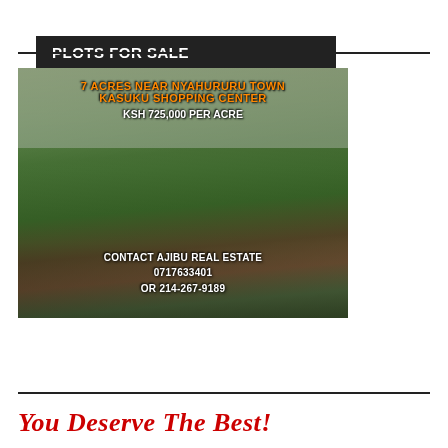PLOTS FOR SALE
[Figure (photo): Agricultural land photo showing green fields/crops with misty trees in background. Text overlay reads: '7 ACRES NEAR NYAHURU TOWN KASUKU SHOPPING CENTER KSH 725,000 PER ACRE CONTACT AJIBU REAL ESTATE 0717633401 OR 214-267-9189']
PADDY'S FARMERS CHOICE SAUSAGES
You Deserve The Best!